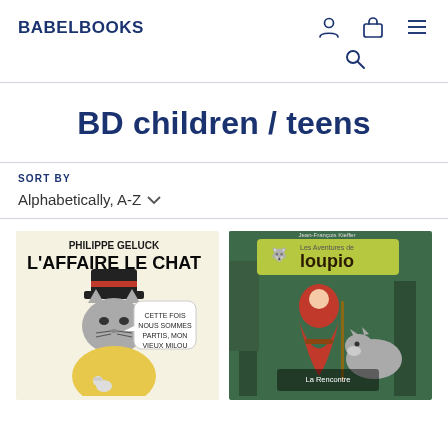BABELBOOKS
BD children / teens
SORT BY
Alphabetically, A-Z
[Figure (illustration): Book cover: Philippe Geluck - L'Affaire Le Chat. Cartoon cat in hat with speech bubble 'Cette fois nous sommes partis, mon vieux Milou']
[Figure (illustration): Book cover: Les Aventures de Loupio - La Rencontre. Red-cloaked child with wolf in forest.]